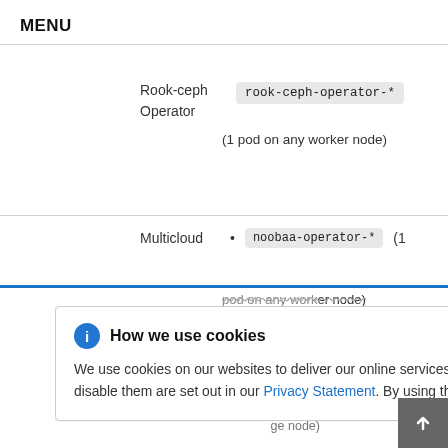MENU
Rook-ceph Operator    rook-ceph-operator-*
(1 pod on any worker node)
Multicloud    • noobaa-operator-* (1 pod on any worker node)
How we use cookies
We use cookies on our websites to deliver our online services. Details about how we use cookies and how you may disable them are set out in our Privacy Statement. By using this website you agree to our use of cookies.